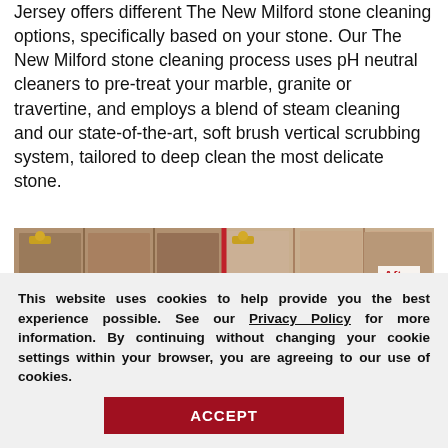Jersey offers different The New Milford stone cleaning options, specifically based on your stone. Our The New Milford stone cleaning process uses pH neutral cleaners to pre-treat your marble, granite or travertine, and employs a blend of steam cleaning and our state-of-the-art, soft brush vertical scrubbing system, tailored to deep clean the most delicate stone.
[Figure (photo): Before/after comparison photo of stone tile shower wall, split by a red vertical divider. Right side labeled 'After'. A dark red rounded badge overlay reads 'Request a Free' with a white close button.]
This website uses cookies to help provide you the best experience possible. See our Privacy Policy for more information. By continuing without changing your cookie settings within your browser, you are agreeing to our use of cookies.